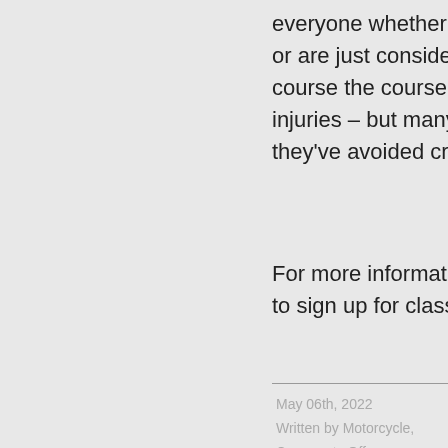everyone whether they've been riding for decades or are just considering purchasing a motorcycle. Of course the course can't stop all accidents and injuries – but many people come back and say they've avoided crashes because of the class.
For more information about our rider education or to sign up for classes today Click Here.
May 06th, 2022
Written by Motorcycle,
Comments Off
Filed under: Uncategorized